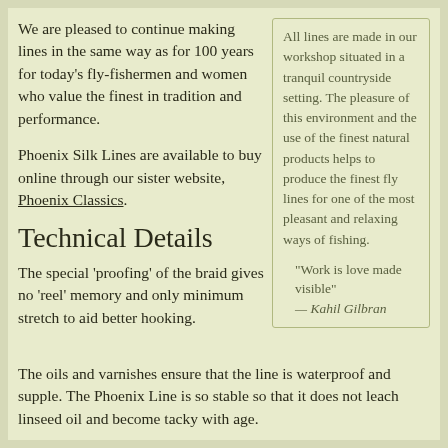We are pleased to continue making lines in the same way as for 100 years for today's fly-fishermen and women who value the finest in tradition and performance.
Phoenix Silk Lines are available to buy online through our sister website, Phoenix Classics.
Technical Details
The special ‘proofing’ of the braid gives no ‘reel’ memory and only minimum stretch to aid better hooking.
All lines are made in our workshop situated in a tranquil countryside setting. The pleasure of this environment and the use of the finest natural products helps to produce the finest fly lines for one of the most pleasant and relaxing ways of fishing.
“Work is love made visible” — Kahil Gilbran
The oils and varnishes ensure that the line is waterproof and supple. The Phoenix Line is so stable so that it does not leach linseed oil and become tacky with age.